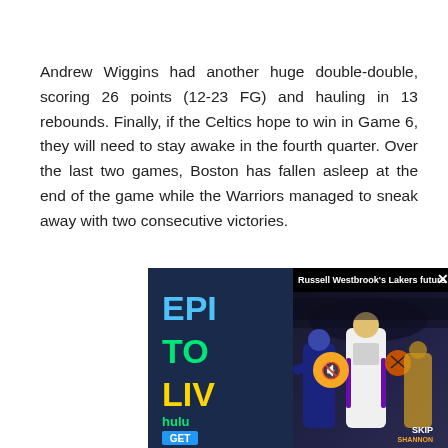Andrew Wiggins had another huge double-double, scoring 26 points (12-23 FG) and hauling in 13 rebounds. Finally, if the Celtics hope to win in Game 6, they will need to stay awake in the fourth quarter. Over the last two games, Boston has fallen asleep at the end of the game while the Warriors managed to sneak away with two consecutive victories.
[Figure (screenshot): An advertisement for a streaming service with overlaid video popup showing 'Russell Westbrook's Lakers future ...' with a basketball player in a Lakers jersey dribbling, a mute button, and a close button. The main ad has dark blue background with 'EPI', 'TO', 'LIV' in blue, green, and yellow text, 'hulu' branding, and a 'GET' button.]